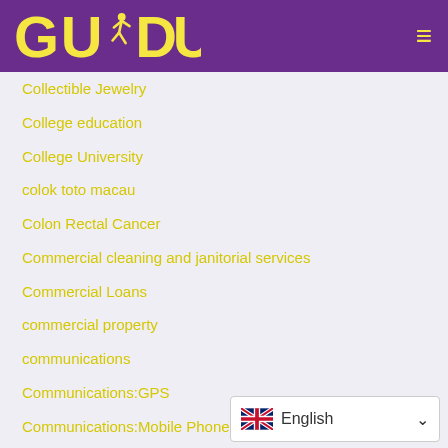[Figure (logo): GUDU logo with yellow runner silhouette on purple background, with hamburger menu icon]
Collectible Jewelry
College education
College University
colok toto macau
Colon Rectal Cancer
Commercial cleaning and janitorial services
Commercial Loans
commercial property
communications
Communications:GPS
Communications:Mobile Phones
Communications:Video Conferencing
Communications:GPS
[Figure (screenshot): Language selector widget showing UK flag and 'English' with dropdown chevron]